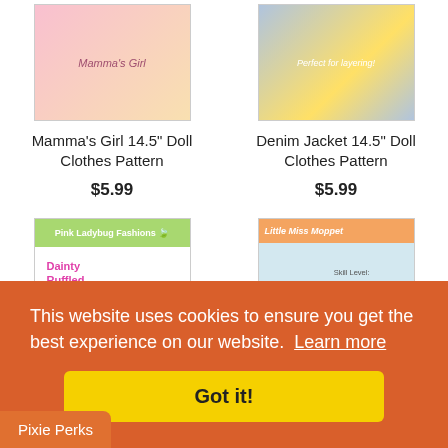[Figure (photo): Product photo: Mamma's Girl 14.5 inch Doll Clothes Pattern - doll in pink dress]
[Figure (photo): Product photo: Denim Jacket 14.5 inch Doll Clothes Pattern - doll in yellow dress with denim jacket]
Mamma's Girl 14.5" Doll Clothes Pattern
$5.99
Denim Jacket 14.5" Doll Clothes Pattern
$5.99
[Figure (photo): Product photo: Pink Ladybug Fashions - Dainty Ruffled Dress pattern]
[Figure (photo): Product photo: Little Miss Moppet doll clothes pattern - raincoat]
This website uses cookies to ensure you get the best experience on our website. Learn more
Got it!
Pixie Perks
+ 14.5" Doll
Days 14.5" Doll